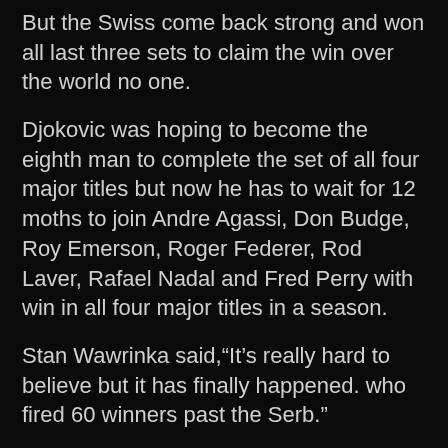But the Swiss come back strong and won all last three sets to claim the win over the world no one.
Djokovic was hoping to become the eighth man to complete the set of all four major titles but now he has to wait for 12 moths to join Andre Agassi, Don Budge, Roy Emerson, Roger Federer, Rod Laver, Rafael Nadal and Fred Perry with win in all four major titles in a season.
Stan Wawrinka said,“It’s really hard to believe but it has finally happened. who fired 60 winners past the Serb.”
“It was an incredible atmosphere on court and I felt emotion like I never have before.”
“It was the match of my life. But bravo to Novak, it’s a great challenge, the biggest one to play him. It’s a special moment for me.”
“I would like to thank my coach Magnus Norman. You